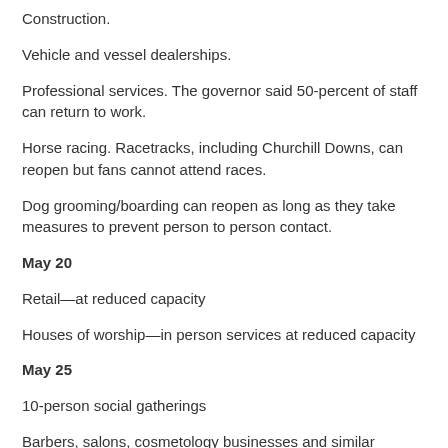Construction.
Vehicle and vessel dealerships.
Professional services. The governor said 50-percent of staff can return to work.
Horse racing. Racetracks, including Churchill Downs, can reopen but fans cannot attend races.
Dog grooming/boarding can reopen as long as they take measures to prevent person to person contact.
May 20
Retail—at reduced capacity
Houses of worship—in person services at reduced capacity
May 25
10-person social gatherings
Barbers, salons, cosmetology businesses and similar services
Gov. Beshear said reopening is contingent on there not being a spike in infections and on businesses being able to follow the restrictions.